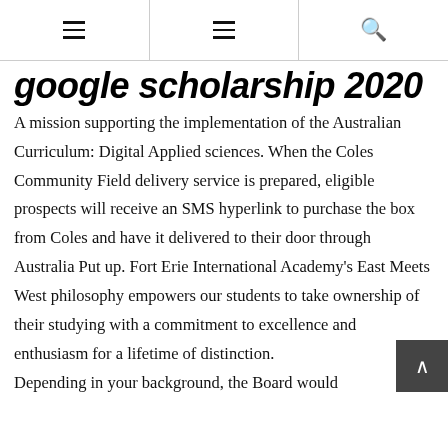[hamburger menu] [hamburger menu] [search icon]
google scholarship 2020
A mission supporting the implementation of the Australian Curriculum: Digital Applied sciences. When the Coles Community Field delivery service is prepared, eligible prospects will receive an SMS hyperlink to purchase the box from Coles and have it delivered to their door through Australia Put up. Fort Erie International Academy's East Meets West philosophy empowers our students to take ownership of their studying with a commitment to excellence and enthusiasm for a lifetime of distinction.
Depending in your background, the Board would